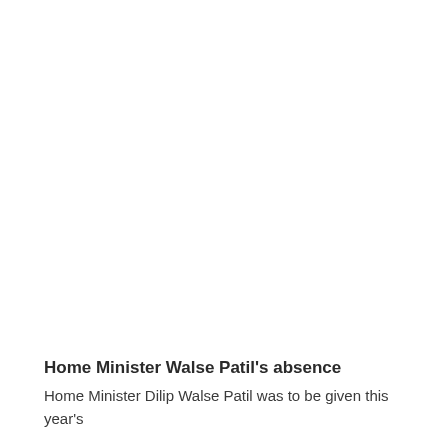Home Minister Walse Patil's absence
Home Minister Dilip Walse Patil was to be given this year's